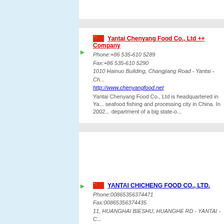Yantai Chenyang Food Co., Ltd ++ Company
Phone:+86 535-610 5289
Fax:+86 535-610 5290
1010 Hainuo Building, Changjiang Road - Yantai - Ch...
http://www.chenyangfood.net
Yantai Chenyang Food Co., Ltd is headquartered in Ya... seafood fishing and processing city in China. In 2002... department of a big state-o...
YANTAI CHICHENG FOOD CO., LTD.
Phone:00865356374471
Fax:00865356374435
11, HUANGHAI BIESHU, HUANGHE RD - YANTAI - C...